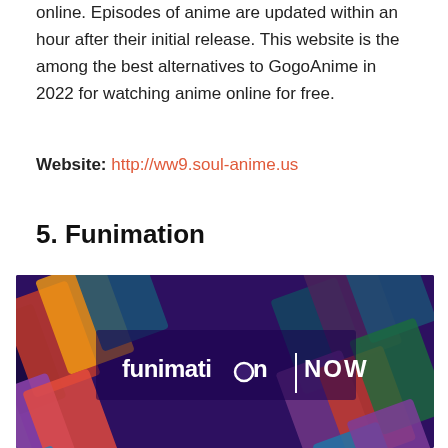online. Episodes of anime are updated within an hour after their initial release. This website is the among the best alternatives to GogoAnime in 2022 for watching anime online for free.
Website: http://ww9.soul-anime.us
5. Funimation
[Figure (photo): Funimation NOW promotional banner showing various anime characters arranged on a dark purple background with the Funimation NOW logo in white text at the center.]